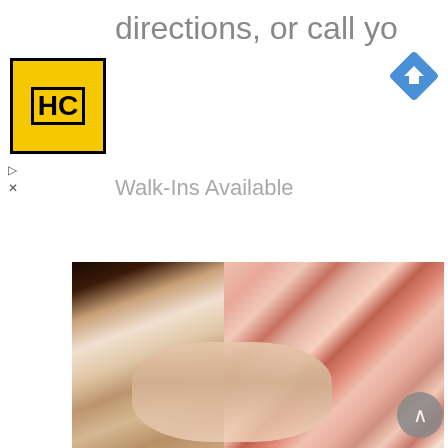[Figure (screenshot): Advertisement banner for a hair salon (HC logo in yellow/black, directions icon in blue) with text 'directions, or call your salon!' and 'Walk-Ins Available']
[Figure (photo): Close-up photo of two people embracing, wearing floral dresses and jewelry including pearl earrings and a delicate necklace]
Some Stats
At the end of the third month Lily weighted 15.3 lbs that's a lot for a baby girl at this stage, but I think th a good thing. Also, you don't see it at first, because